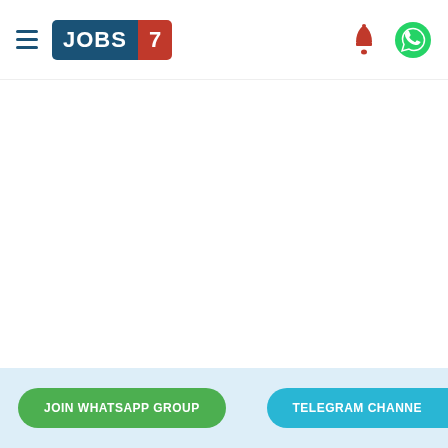JOBS 7 — hamburger menu, logo, bell notification icon, WhatsApp icon
[Figure (logo): JOBS7 logo: blue rectangle with white text JOBS and red rectangle with white text 7]
JOIN WHATSAPP GROUP
TELEGRAM CHANNEL